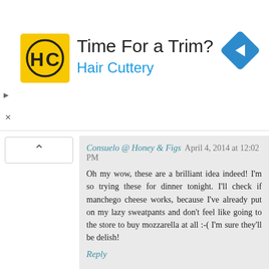[Figure (advertisement): Hair Cuttery advertisement banner with yellow square logo showing 'HC', headline 'Time For a Trim?', subline 'Hair Cuttery', and a blue diamond navigation icon on the right.]
Consuelo @ Honey & Figs  April 4, 2014 at 12:02 PM
Oh my wow, these are a brilliant idea indeed! I'm so trying these for dinner tonight. I'll check if manchego cheese works, because I've already put on my lazy sweatpants and don't feel like going to the store to buy mozzarella at all :-( I'm sure they'll be delish!
Reply
Sonia! The Healthy Foodie  April 5, 2014 at 6:29 AM
Mike, you have go to stop this. Sweet mother of Jeeezus the neeeeds you keep giving me. This is almost unbearable. I want to slowly, appreciatively, rapturously